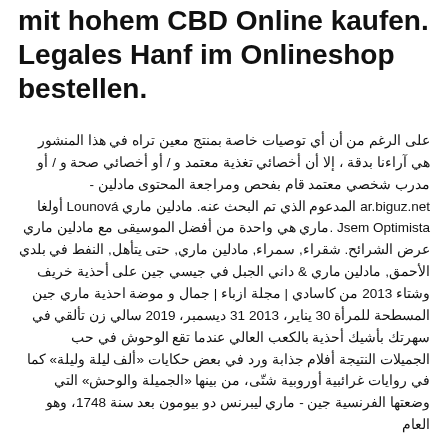mit hohem CBD Online kaufen. Legales Hanf im Onlineshop bestellen.
على الرغم من أن أي توصيات خاصة بمنتج معين تراه في هذا المنشور هي آراءنا بدقة ، إلا أن أخصائي تغذية معتمد و / أو أخصائي صحة و / أو مدرب شخصي معتمد قام بفحص ومراجعة المحتوى مادلين - ar.biguz.net المدعوم الذي تم البحث عنه. مادلين ماري Lounová أولغا Jsem Optimista .ماري هي واحدة من أفضل الموسيقى مع مادلين ماري عرض الشرائح. شقراء, سمراء, مادلين ماري, حتى يتأهل, النفط في بلدي الأحمق, مادلين ماري & داني الجبل في جيسي جين على أحذية خريف وشتاء 2013 من كاسادي | مجلة ازباء | جمال و موضة احذية ماري جين المسطحة للمرأة 30 يناير، 2013 31 ديسمبر، 2019 سالي زن تألقي في سهرتك بأشيك أحذية بالكعب العالي عندما تقع الوحوش في حب الجميلات النتيجة أفلام جذابة ورد في بعض حكايات «ألف ليلة وليلة» كما في روايات غرائبية أوروبية شتّى، من بينها «الجميلة والوحش» التي وضعتها الفرنسية جين - ماري ليبرنس دو بيومون بعد سنة 1748، وهو العام